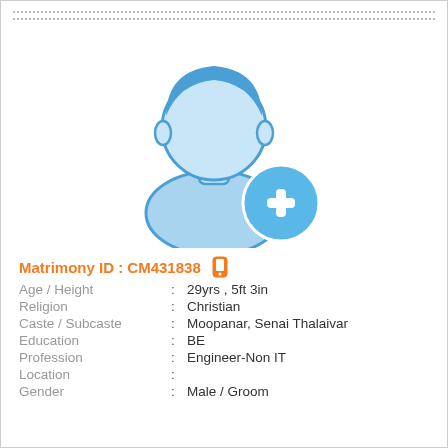[Figure (illustration): Male silhouette profile placeholder icon in blue with a blue circle plus (+) button overlay at bottom right]
Matrimony ID : CM431838
Age / Height : 29yrs , 5ft 3in
Religion : Christian
Caste / Subcaste : Moopanar, Senai Thalaivar
Education : BE
Profession : Engineer-Non IT
Location :
Gender : Male / Groom